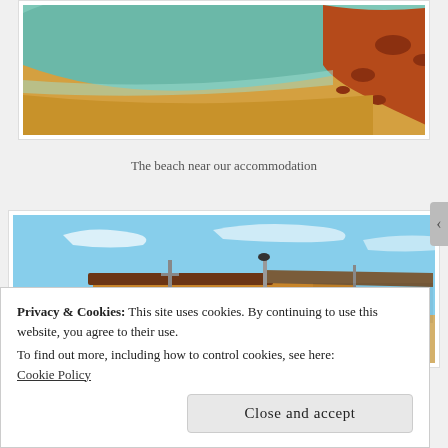[Figure (photo): Aerial view of a beach with turquoise water, yellow sand, and red/orange rocky terrain near accommodation]
The beach near our accommodation
[Figure (photo): Outdoor beach bar or restaurant building with thatched/rustic roof, utility poles, blue sky, sandy beach, and a person with arms raised]
Privacy & Cookies: This site uses cookies. By continuing to use this website, you agree to their use.
To find out more, including how to control cookies, see here:
Cookie Policy
Close and accept